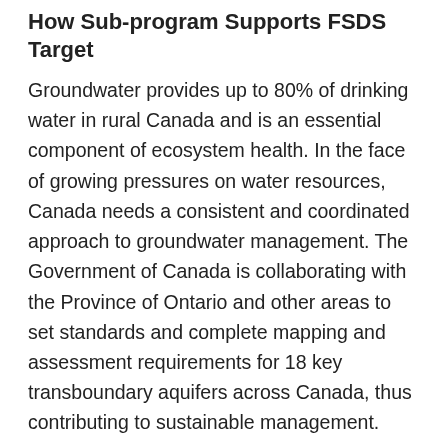How Sub-program Supports FSDS Target
Groundwater provides up to 80% of drinking water in rural Canada and is an essential component of ecosystem health. In the face of growing pressures on water resources, Canada needs a consistent and coordinated approach to groundwater management. The Government of Canada is collaborating with the Province of Ontario and other areas to set standards and complete mapping and assessment requirements for 18 key transboundary aquifers across Canada, thus contributing to sustainable management.
To enact a consistent and coordinated